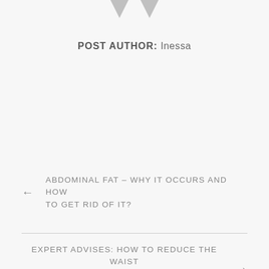[Figure (illustration): Two downward-pointing gray triangular arrows at the top of the page]
POST AUTHOR: Inessa
← ABDOMINAL FAT – WHY IT OCCURS AND HOW TO GET RID OF IT?
EXPERT ADVISES: HOW TO REDUCE THE WAIST AND WHETHER A HOOP WILL HELP WITH THIS →